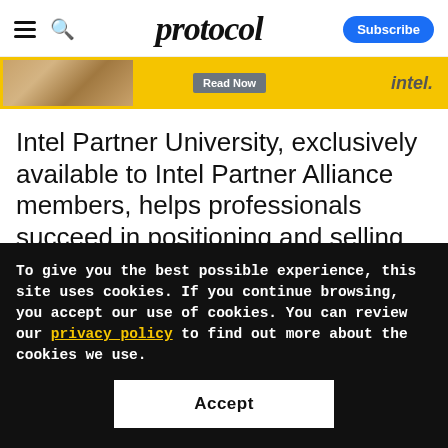protocol — Subscribe
[Figure (photo): Advertisement banner with image on left, 'Read Now' button in center, and 'intel' logo on right, with yellow/gold border]
Intel Partner University, exclusively available to Intel Partner Alliance members, helps professionals succeed in positioning and selling Intel products and solutions through industry-leading curriculum with specialized training paths and personalized training
To give you the best possible experience, this site uses cookies. If you continue browsing, you accept our use of cookies. You can review our privacy policy to find out more about the cookies we use.
Accept